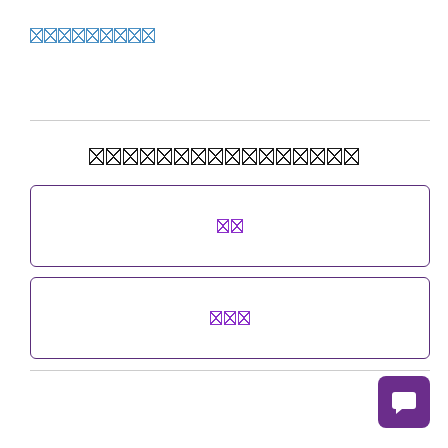█████████
████████████████
██
███
[Figure (other): Purple chat/message button icon in bottom right corner]